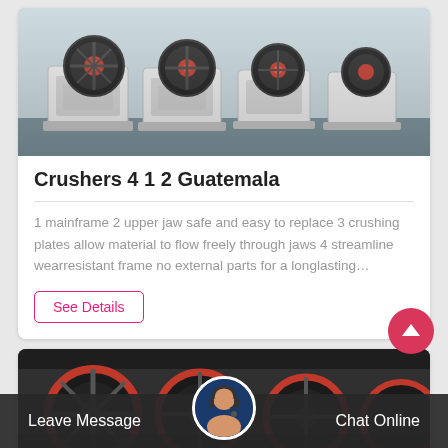[Figure (photo): Photo of multiple jaw crusher machines lined up in a factory/warehouse setting. White and grey crusher bodies with red and black flywheels on a grey floor.]
Crushers 4 1 2 Guatemala
1 mainframe 2 upper jaw safe and easy to replace 3 crushing plates allow material to flow freely through jaws 4 streamline wearresistant frame no external parts for a longlasting…
See Details
[Figure (photo): Photo of large industrial crusher flywheels (black with red rims) lined up in a dark factory environment.]
Leave Message
[Figure (photo): Customer service representative avatar — woman wearing headset, smiling, circular framed photo.]
Chat Online